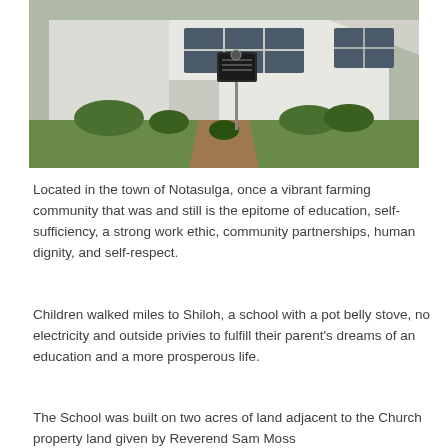[Figure (photo): Photograph of a white building (church or school) with large windows, landscaped garden in front, and a historical marker sign on a post in the foreground. A brick pathway leads to the building.]
Located in the town of Notasulga, once a vibrant farming community that was and still is the epitome of education, self-sufficiency, a strong work ethic, community partnerships, human dignity, and self-respect.
Children walked miles to Shiloh, a school with a pot belly stove, no electricity and outside privies to fulfill their parent's dreams of an education and a more prosperous life.
The School was built on two acres of land adjacent to the Church property land given by Reverend Sam Moss...